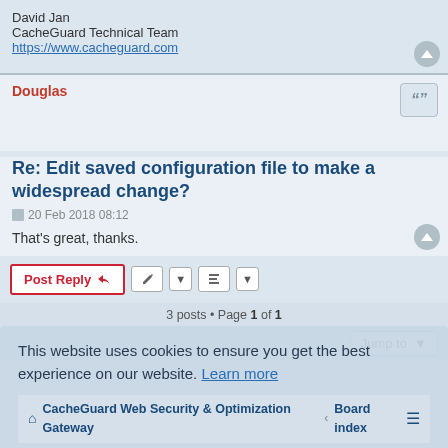David Jan
CacheGuard Technical Team
https://www.cacheguard.com
Douglas
Re: Edit saved configuration file to make a widespread change?
20 Feb 2018 08:12
That's great, thanks.
Post Reply
3 posts • Page 1 of 1
Jump to
This website uses cookies to ensure you get the best experience on our website. Learn more
CacheGuard Web Security & Optimization Gateway · Board index
Got it!
Powered by phpBB® Forum Software © phpBB Limited
Privacy | Terms